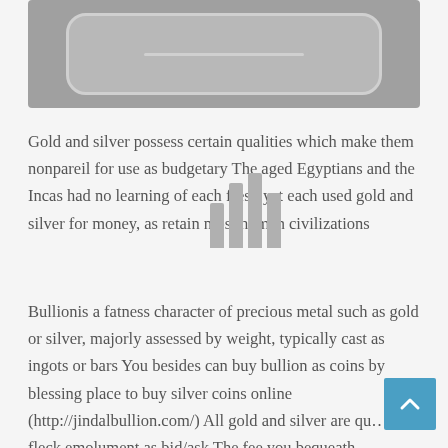[Figure (illustration): A rounded rectangular device or bar shape on a gray background, resembling a bullion bar or tablet device outline]
Gold and silver possess certain qualities which make them nonpareil for use as budgetary The aged Egyptians and the Incas had no learning of each fresh yet each used gold and silver for money, as retain most human civilizations
Bullionis a fatness character of precious metal such as gold or silver, majorly assessed by weight, typically cast as ingots or bars You besides can buy bullion as coins by blessing place to buy silver coins online (http://jindalbullion.com/) All gold and silver are qu… in fleck emolument as bid/ask The fee you bequeath…